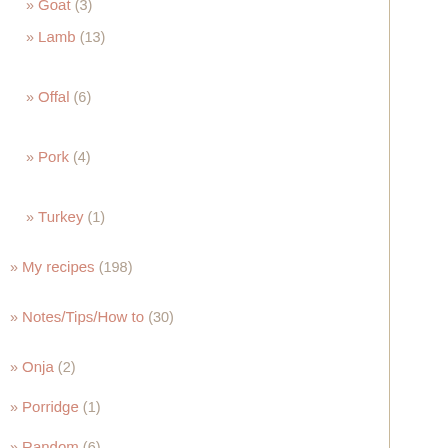» Goat (3)
» Lamb (13)
» Offal (6)
» Pork (4)
» Turkey (1)
» My recipes (198)
» Notes/Tips/How to (30)
» Onja (2)
» Porridge (1)
» Random (6)